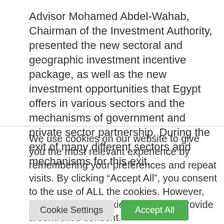Advisor Mohamed Abdel-Wahab, Chairman of the Investment Authority, presented the new sectoral and geographic investment incentive package, as well as the new investment opportunities that Egypt offers in various sectors and the mechanisms of government and private sector partnership. During the exit of many different sectors and mechanisms for this exit.
We use cookies on our website to give you the most relevant experience by remembering your preferences and repeat visits. By clicking “Accept All”, you consent to the use of ALL the cookies. However, you may visit "Cookie Settings" to provide a controlled consent.